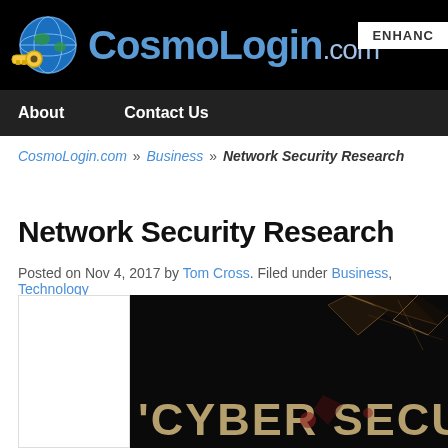CosmoLogin.com | About | Contact Us
CosmoLogin.com » Business » Network Security Research
Network Security Research
Posted on Nov 4, 2017 by Tom Cross. Filed under Business, Technology
[Figure (photo): Cyber security themed image with dark background and stylized 'CYBER SECU...' text with a shattered glass effect]